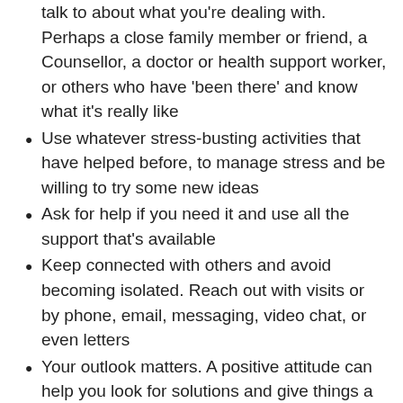talk to about what you're dealing with. Perhaps a close family member or friend, a Counsellor, a doctor or health support worker, or others who have 'been there' and know what it's really like
Use whatever stress-busting activities that have helped before, to manage stress and be willing to try some new ideas
Ask for help if you need it and use all the support that's available
Keep connected with others and avoid becoming isolated. Reach out with visits or by phone, email, messaging, video chat, or even letters
Your outlook matters. A positive attitude can help you look for solutions and give things a go
Gratitude can help you notice the good things, in the middle of big challenges